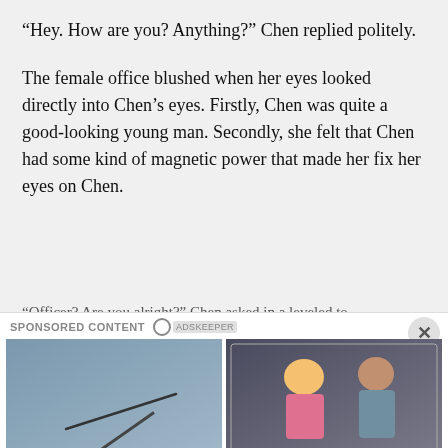“Hey. How are you? Anything?” Chen replied politely.
The female office blushed when her eyes looked directly into Chen’s eyes. Firstly, Chen was quite a good-looking young man. Secondly, she felt that Chen had some kind of magnetic power that made her fix her eyes on Chen.
“Officer? Are you alright?” Chen asked in a leveled to
SPONSORED CONTENT
[Figure (photo): Aerial photo showing a thin dark line (possibly a ship or submarine track) on a grayish-blue water or ice surface]
7 Of The Most Incredible Antarctica Conspiracy Theories
[Figure (photo): Two people in a room taking a selfie in a mirror; one wearing a blonde wig and pink outfit with white gloves, the other in a gray hoodie]
What Is The Fastest Way To Get 1 Million Followers On Instagram?